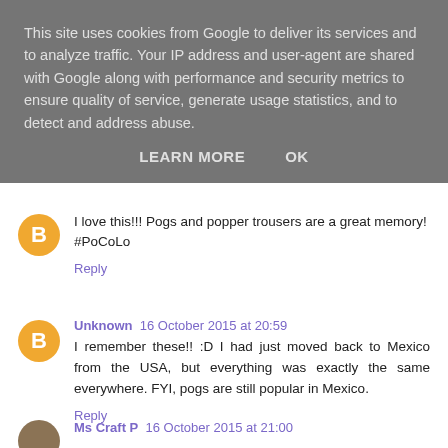This site uses cookies from Google to deliver its services and to analyze traffic. Your IP address and user-agent are shared with Google along with performance and security metrics to ensure quality of service, generate usage statistics, and to detect and address abuse.
LEARN MORE    OK
I love this!!! Pogs and popper trousers are a great memory! #PoCoLo
Reply
Unknown  16 October 2015 at 20:59
I remember these!! :D I had just moved back to Mexico from the USA, but everything was exactly the same everywhere. FYI, pogs are still popular in Mexico.
Reply
Ms Craft P  16 October 2015 at 21:00